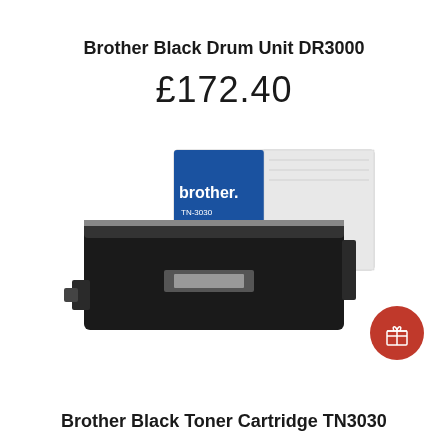Brother Black Drum Unit DR3000
£172.40
[Figure (photo): Product photo of a Brother TN-3030 black toner cartridge in front of its box. The box is white and blue with the Brother logo and TN-3030 label. The toner cartridge is a large black rectangular unit with a small label on the front.]
Brother Black Toner Cartridge TN3030